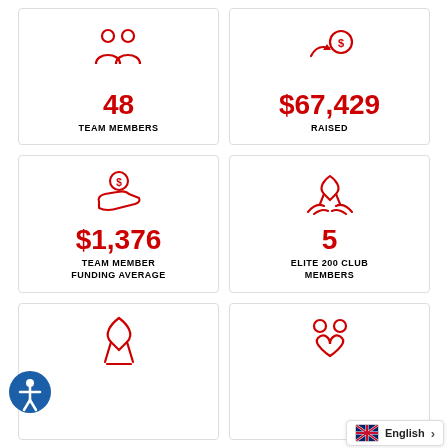[Figure (infographic): Stat card: 48 TEAM MEMBERS with two people icon]
[Figure (infographic): Stat card: $67,429 RAISED with coin/money icon]
[Figure (infographic): Stat card: $1,376 TEAM MEMBER FUNDING AVERAGE with hand and coin icon]
[Figure (infographic): Stat card: 5 ELITE 200 CLUB MEMBERS with hands holding ribbon icon]
[Figure (infographic): Stat card (partial): ribbon icon visible at bottom]
[Figure (infographic): Stat card (partial): people/heart icon visible at bottom]
English
[Figure (illustration): Accessibility button (blue circle with person icon) at bottom left]